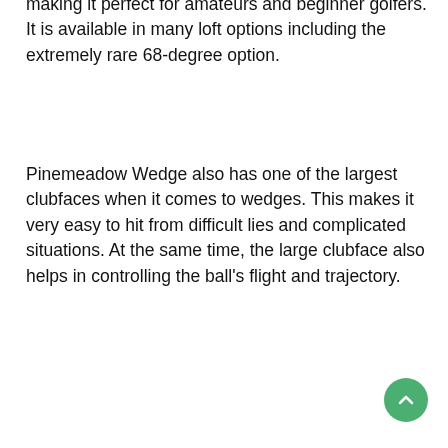making it perfect for amateurs and beginner golfers. It is available in many loft options including the extremely rare 68-degree option.
Pinemeadow Wedge also has one of the largest clubfaces when it comes to wedges. This makes it very easy to hit from difficult lies and complicated situations. At the same time, the large clubface also helps in controlling the ball's flight and trajectory.